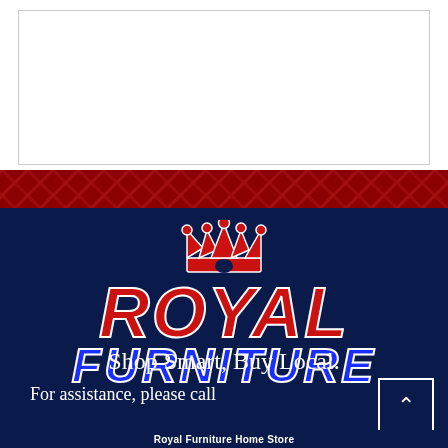[Figure (logo): Royal Furniture logo with crown, red italic ROYAL text and blue italic FURNITURE text on dark navy background]
Shop Smart, Buy Local.
For assistance, please call
Royal Furniture Home Store